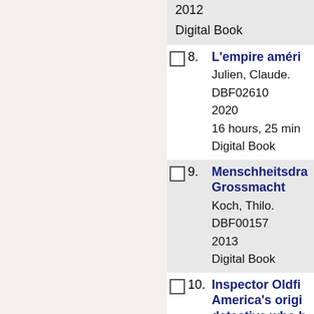2012
Digital Book
8. L'empire améri
Julien, Claude.
DBF02610
2020
16 hours, 25 min
Digital Book
9. Menschheitsdra Grossmacht
Koch, Thilo.
DBF00157
2013
Digital Book
10. Inspector Oldfi America's origi detective who b
Oldfield, William
DB092656
2018